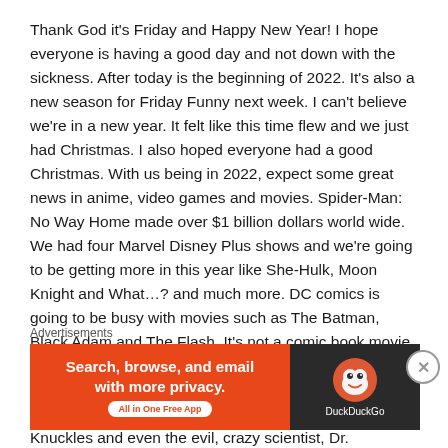Thank God it's Friday and Happy New Year! I hope everyone is having a good day and not down with the sickness. After today is the beginning of 2022. It's also a new season for Friday Funny next week. I can't believe we're in a new year. It felt like this time flew and we just had Christmas. I also hoped everyone had a good Christmas. With us being in 2022, expect some great news in anime, video games and movies. Spider-Man: No Way Home made over $1 billion dollars world wide. We had four Marvel Disney Plus shows and we're going to be getting more in this year like She-Hulk, Moon Knight and What...? and much more. DC comics is going to be busy with movies such as The Batman, Black Adam and The Flash. It's not a comic book movie, but you love this blue Hedgehog from the video games. Sonic the Hedgehog 2 will be coming out this year in the spring and he's bringing in characters like Tails and Knuckles and even the evil, crazy scientist, Dr. Robotnik. In anime, get ready for the return of Bleach. Bleach will be back
Advertisements
[Figure (other): DuckDuckGo advertisement banner with orange left panel saying 'Search, browse, and email with more privacy. All in One Free App' and dark right panel with DuckDuckGo logo and text.]